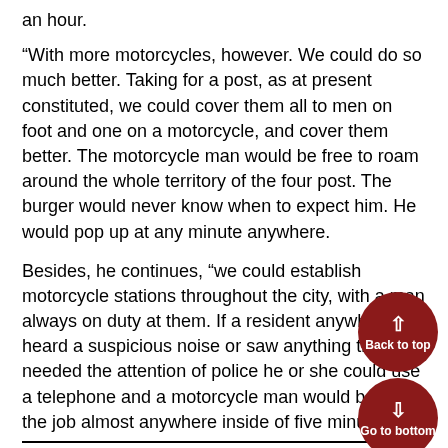an hour.
“With more motorcycles, however. We could do so much better. Taking for a post, as at present constituted, we could cover them all to men on foot and one on a motorcycle, and cover them better. The motorcycle man would be free to roam around the whole territory of the four post. The burger would never know when to expect him. He would pop up at any minute anywhere.
Besides, he continues, “we could establish motorcycle stations throughout the city, with a man always on duty at them. If a resident anywhere heard a suspicious noise or saw anything that needed the attention of police he or she could use a telephone and a motorcycle man would be on the job almost anywhere inside of five minutes.”
Here Wisdom of Baltimore Policemen Reads like some Bestsellers
15 A… 0
In 23 years 1078 Members of the Force received